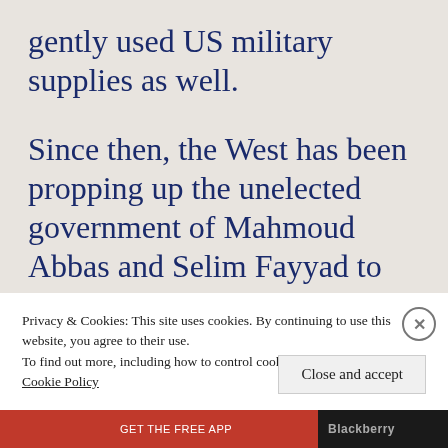gently used US military supplies as well.
Since then, the West has been propping up the unelected government of Mahmoud Abbas and Selim Fayyad to the tune of millions of dollars with the idea
Privacy & Cookies: This site uses cookies. By continuing to use this website, you agree to their use.
To find out more, including how to control cookies, see here: Cookie Policy
Close and accept